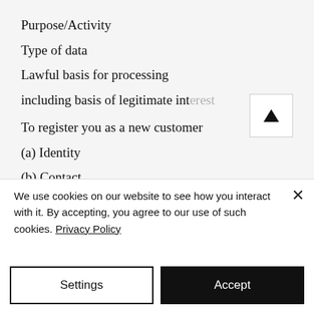Purpose/Activity
Type of data
Lawful basis for processing including basis of legitimate interest
To register you as a new customer
(a) Identity
(b) Contact
Performance of a contract with you
To process and deliver your order
We use cookies on our website to see how you interact with it. By accepting, you agree to our use of such cookies. Privacy Policy
Settings
Accept